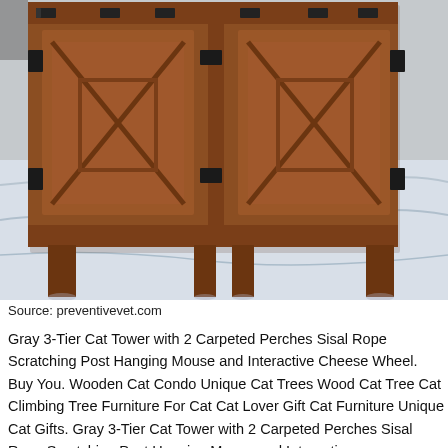[Figure (photo): A wooden cabinet with barn-door style X-pattern panels and black metal hardware, sitting on a white drop cloth on a gravel surface.]
Source: preventivevet.com
Gray 3-Tier Cat Tower with 2 Carpeted Perches Sisal Rope Scratching Post Hanging Mouse and Interactive Cheese Wheel. Buy You. Wooden Cat Condo Unique Cat Trees Wood Cat Tree Cat Climbing Tree Furniture For Cat Cat Lover Gift Cat Furniture Unique Cat Gifts. Gray 3-Tier Cat Tower with 2 Carpeted Perches Sisal Rope Scratching Post Hanging Mouse and Interactive